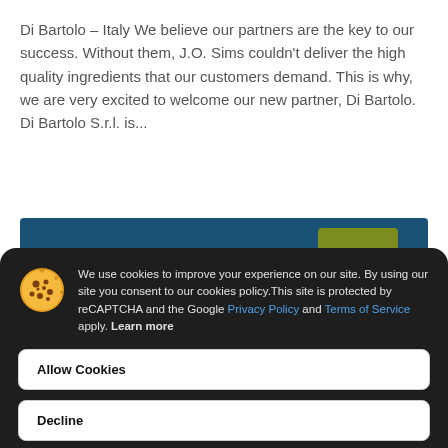Di Bartolo – Italy We believe our partners are the key to our success. Without them, J.O. Sims couldn't deliver the high quality ingredients that our customers demand. This is why, we are very excited to welcome our new partner, Di Bartolo. Di Bartolo S.r.l. is...
[Figure (screenshot): Blue banner strip with green button partially visible behind cookie consent modal]
We use cookies to improve your experience on our site. By using our site you consent to our cookies policy.This site is protected by reCAPTCHA and the Google Privacy Policy and Terms of Service apply. Learn more
Allow Cookies
Decline